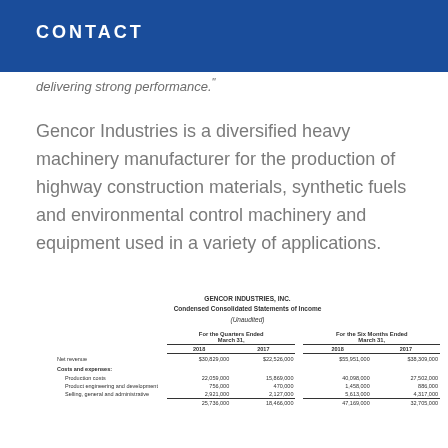CONTACT
delivering strong performance."
Gencor Industries is a diversified heavy machinery manufacturer for the production of highway construction materials, synthetic fuels and environmental control machinery and equipment used in a variety of applications.
|  | For the Quarters Ended March 31, 2018 | For the Quarters Ended March 31, 2017 | For the Six Months Ended March 31, 2018 | For the Six Months Ended March 31, 2017 |
| --- | --- | --- | --- | --- |
| Net revenue | $30,829,000 | $22,526,000 | $55,951,000 | $38,309,000 |
| Costs and expenses: |  |  |  |  |
| Production costs | 22,059,000 | 15,869,000 | 40,098,000 | 27,502,000 |
| Product engineering and development | 756,000 | 470,000 | 1,458,000 | 886,000 |
| Selling, general and administrative | 2,921,000 | 2,127,000 | 5,613,000 | 4,317,000 |
|  | 25,736,000 | 18,466,000 | 47,169,000 | 32,705,000 |